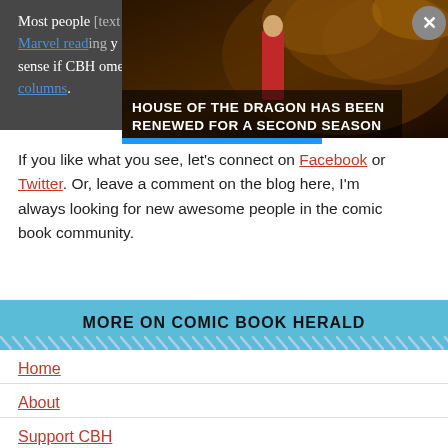Most people [text obscured by popup] (Why Marvel reading [obscured] also get a sense if CBH [obscured] some of my columns. [obscured]
[Figure (illustration): Advertisement popup for 'House of the Dragon has been renewed for a second season' showing a woman in red dress with dragon background. Has a grey close (X) button in top right corner and a blue progress bar at the bottom.]
If you like what you see, let's connect on Facebook or Twitter. Or, leave a comment on the blog here, I'm always looking for new awesome people in the comic book community.
MORE ON COMIC BOOK HERALD
Home
About
Support CBH